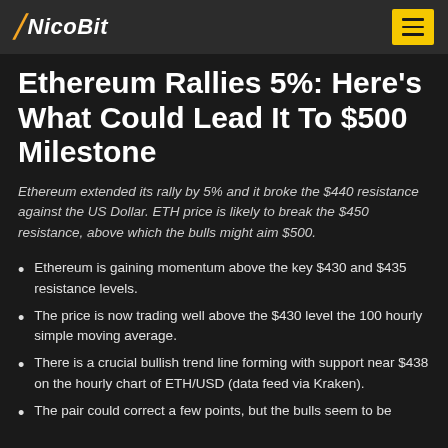NicoBit
Ethereum Rallies 5%: Here's What Could Lead It To $500 Milestone
Ethereum extended its rally by 5% and it broke the $440 resistance against the US Dollar. ETH price is likely to break the $450 resistance, above which the bulls might aim $500.
Ethereum is gaining momentum above the key $430 and $435 resistance levels.
The price is now trading well above the $430 level the 100 hourly simple moving average.
There is a crucial bullish trend line forming with support near $438 on the hourly chart of ETH/USD (data feed via Kraken).
The pair could correct a few points, but the bulls seem to be